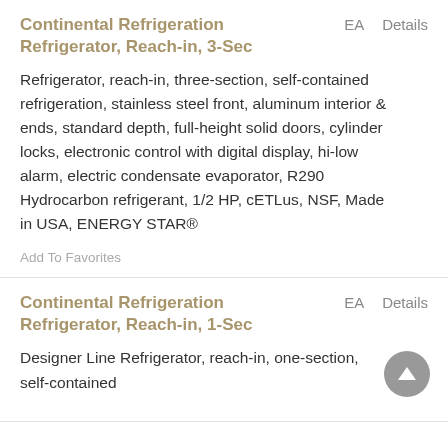Continental Refrigeration Refrigerator, Reach-in, 3-Sec
Refrigerator, reach-in, three-section, self-contained refrigeration, stainless steel front, aluminum interior & ends, standard depth, full-height solid doors, cylinder locks, electronic control with digital display, hi-low alarm, electric condensate evaporator, R290 Hydrocarbon refrigerant, 1/2 HP, cETLus, NSF, Made in USA, ENERGY STAR®
Add To Favorites
Continental Refrigeration Refrigerator, Reach-in, 1-Sec
Designer Line Refrigerator, reach-in, one-section, self-contained